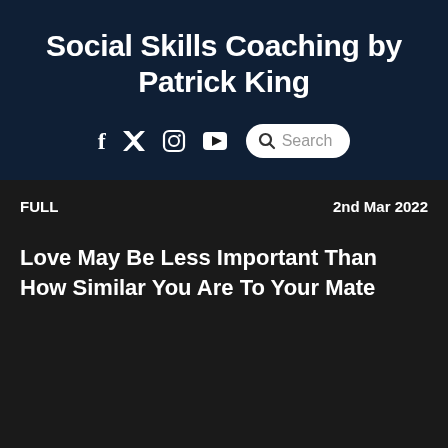Social Skills Coaching by Patrick King
f  y  Instagram  YouTube  Search
FULL   2nd Mar 2022
Love May Be Less Important Than How Similar You Are To Your Mate